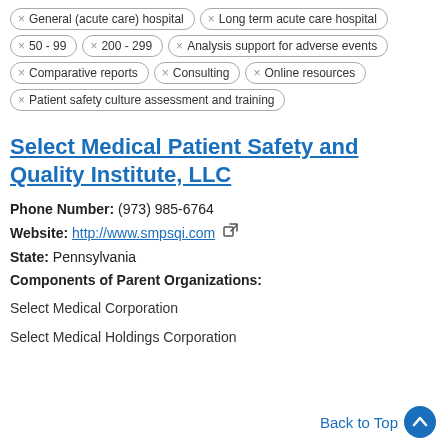× General (acute care) hospital
× Long term acute care hospital
× 50 - 99
× 200 - 299
× Analysis support for adverse events
× Comparative reports
× Consulting
× Online resources
× Patient safety culture assessment and training
Select Medical Patient Safety and Quality Institute, LLC
Phone Number: (973) 985-6764
Website: http://www.smpsqi.com
State: Pennsylvania
Components of Parent Organizations:
Select Medical Corporation
Select Medical Holdings Corporation